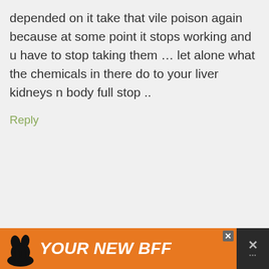depended on it take that vile poison again because at some point it stops working and u have to stop taking them … let alone what the chemicals in there do to your liver kidneys n body full stop ..
Reply
admin says
October 1, 2015 at 4:37
[Figure (infographic): Orange advertisement banner at the bottom with a dog silhouette and text 'YOUR NEW BFF' with close buttons]
YOUR NEW BFF